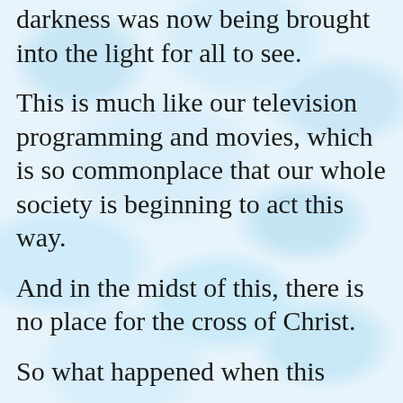darkness was now being brought into the light for all to see.
This is much like our television programming and movies, which is so commonplace that our whole society is beginning to act this way.
And in the midst of this, there is no place for the cross of Christ.
So what happened when this